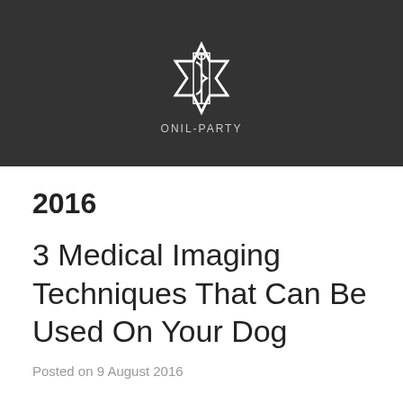[Figure (logo): Star of Life medical symbol with Rod of Asclepius, white on dark background, with text ONIL-PARTY below]
2016
3 Medical Imaging Techniques That Can Be Used On Your Dog
Posted on 9 August 2016